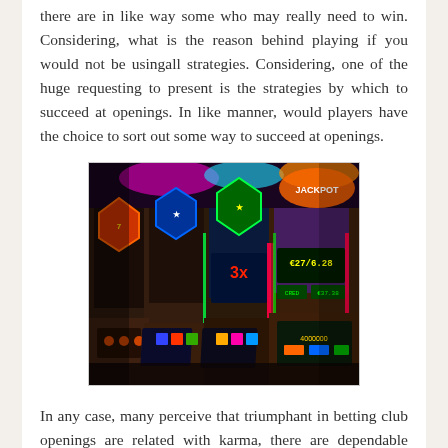there are in like way some who may really need to win. Considering, what is the reason behind playing if you would not be usingall strategies. Considering, one of the huge requesting to present is the strategies by which to succeed at openings. In like manner, would players have the choice to sort out some way to succeed at openings.
[Figure (photo): A row of colorful casino slot machines with bright neon displays showing various symbols and numbers, photographed from a low angle.]
In any case, many perceive that triumphant in betting club openings are related with karma, there are dependable frameworks that have been showed up with